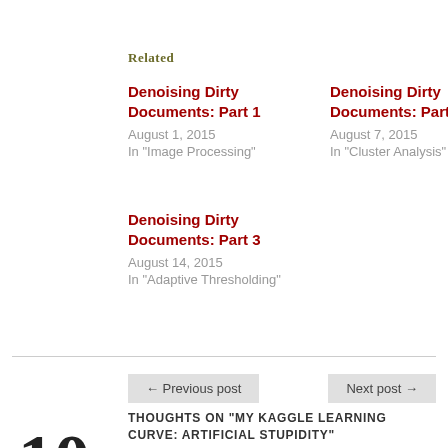Related
Denoising Dirty Documents: Part 1
August 1, 2015
In "Image Processing"
Denoising Dirty Documents: Part 2
August 7, 2015
In "Cluster Analysis"
Denoising Dirty Documents: Part 3
August 14, 2015
In "Adaptive Thresholding"
← Previous post
Next post →
THOUGHTS ON “MY KAGGLE LEARNING CURVE: ARTIFICIAL STUPIDITY”
10